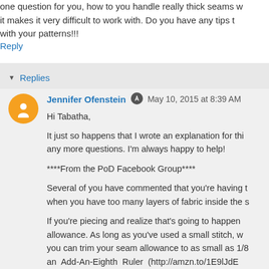one question for you, how to you handle really thick seams w it makes it very difficult to work with. Do you have any tips t with your patterns!!!
Reply
Replies
Jennifer Ofenstein  May 10, 2015 at 8:39 AM
Hi Tabatha,

It just so happens that I wrote an explanation for thi any more questions. I'm always happy to help!

****From the PoD Facebook Group****

Several of you have commented that you're having t when you have too many layers of fabric inside the s

If you're piecing and realize that's going to happen allowance. As long as you've used a small stitch, w you can trim your seam allowance to as small as 1/8 an Add-An-Eighth Ruler (http://amzn.to/1E9lJdE (http://amzn.to/19BXWHM 6" & http://amzn.to/1A